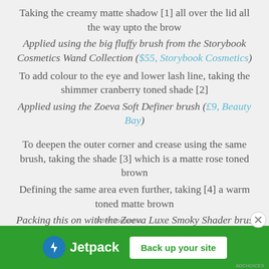Taking the creamy matte shadow [1] all over the lid all the way upto the brow
Applied using the big fluffy brush from the Storybook Cosmetics Wand Collection ($55, Storybook Cosmetics)
To add colour to the eye and lower lash line, taking the shimmer cranberry toned shade [2]
Applied using the Zoeva Soft Definer brush (£9, Beauty Bay)
To deepen the outer corner and crease using the same brush, taking the shade [3] which is a matte rose toned brown
Defining the same area even further, taking [4] a warm toned matte brown
Packing this on with the Zoeva Luxe Smoky Shader brush
[Figure (screenshot): Jetpack advertisement banner with green background, Jetpack logo, and 'Back up your site' button]